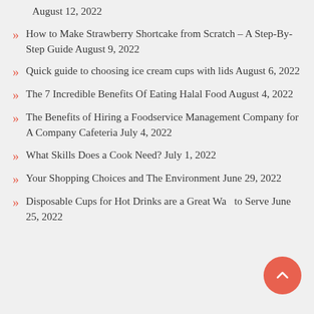August 12, 2022
How to Make Strawberry Shortcake from Scratch – A Step-By-Step Guide August 9, 2022
Quick guide to choosing ice cream cups with lids August 6, 2022
The 7 Incredible Benefits Of Eating Halal Food August 4, 2022
The Benefits of Hiring a Foodservice Management Company for A Company Cafeteria July 4, 2022
What Skills Does a Cook Need? July 1, 2022
Your Shopping Choices and The Environment June 29, 2022
Disposable Cups for Hot Drinks are a Great Way to Serve June 25, 2022